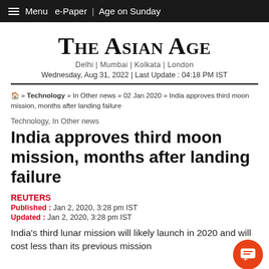Menu  e-Paper | Age on Sunday
The Asian Age
Delhi | Mumbai | Kolkata | London
Wednesday, Aug 31, 2022 | Last Update : 04:18 PM IST
🏠 » Technology » In Other news » 02 Jan 2020 » India approves third moon mission, months after landing failure
Technology, In Other news
India approves third moon mission, months after landing failure
REUTERS
Published : Jan 2, 2020, 3:28 pm IST
Updated : Jan 2, 2020, 3:28 pm IST
India's third lunar mission will likely launch in 2020 and will cost less than its previous mission